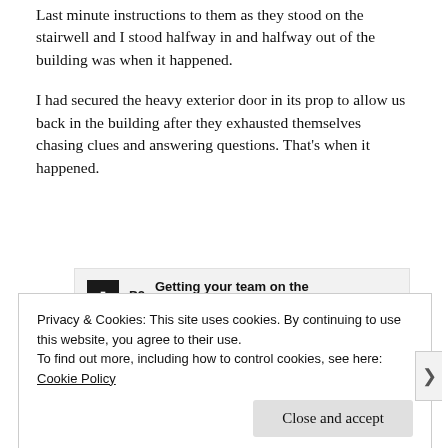Last minute instructions to them as they stood on the stairwell and I stood halfway in and halfway out of the building was when it happened.
I had secured the heavy exterior door in its prop to allow us back in the building after they exhausted themselves chasing clues and answering questions. That’s when it happened.
[Figure (other): Advertisement banner for P2: logo box with 'P2' text and tagline 'Getting your team on the same page is easy. And free.']
REPORT THIS AD
Privacy & Cookies: This site uses cookies. By continuing to use this website, you agree to their use.
To find out more, including how to control cookies, see here: Cookie Policy
Close and accept